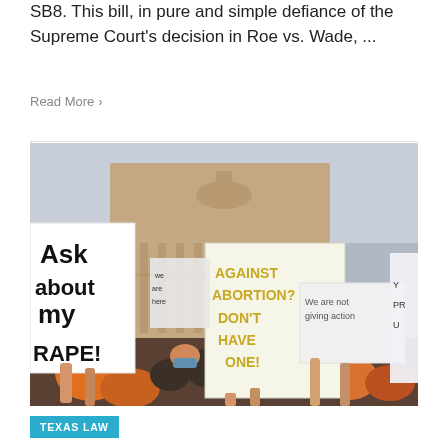SB8. This bill, in pure and simple defiance of the Supreme Court's decision in Roe vs. Wade, ...
Read More >
[Figure (photo): Protest photo showing demonstrators outside a government building (Texas Capitol) holding signs including 'Ask about my [rape]', 'Against Abortion? Don't Have One!', and 'We are not giving action'. Protesters are wearing orange shirts and face masks.]
TEXAS LAW